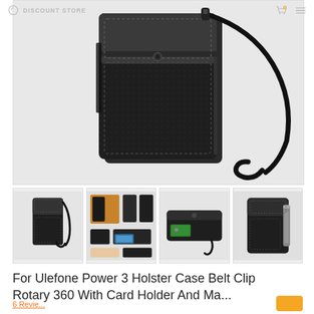DISCOUNT STORE
[Figure (photo): Main product image: black leather phone holster case with wrist strap, front view showing flap closure and stitching detail]
[Figure (photo): Thumbnail 1: black leather phone holster with wrist strap, vertical orientation]
[Figure (photo): Thumbnail 2: collage of multiple views showing the holster with belt clip in use and various angles]
[Figure (photo): Thumbnail 3: horizontal view of the holster showing card holder slot and strap]
[Figure (photo): Thumbnail 4: partial view of holster with belt clip]
For Ulefone Power 3 Holster Case Belt Clip Rotary 360 With Card Holder And Ma...